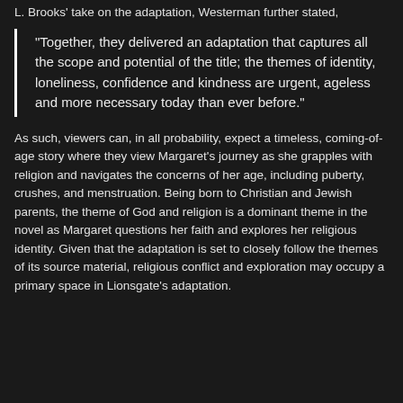L. Brooks' take on the adaptation, Westerman further stated,
“Together, they delivered an adaptation that captures all the scope and potential of the title; the themes of identity, loneliness, confidence and kindness are urgent, ageless and more necessary today than ever before.”
As such, viewers can, in all probability, expect a timeless, coming-of-age story where they view Margaret's journey as she grapples with religion and navigates the concerns of her age, including puberty, crushes, and menstruation. Being born to Christian and Jewish parents, the theme of God and religion is a dominant theme in the novel as Margaret questions her faith and explores her religious identity. Given that the adaptation is set to closely follow the themes of its source material, religious conflict and exploration may occupy a primary space in Lionsgate’s adaptation.